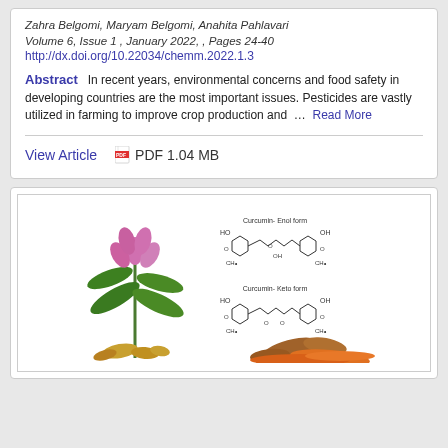Zahra Belgomi, Maryam Belgomi, Anahita Pahlavari
Volume 6, Issue 1 , January 2022, , Pages 24-40
http://dx.doi.org/10.22034/chemm.2022.1.3
Abstract   In recent years, environmental concerns and food safety in developing countries are the most important issues. Pesticides are vastly utilized in farming to improve crop production and ...  Read More
View Article    PDF 1.04 MB
[Figure (illustration): Scientific illustration showing turmeric plant with pink flower and green leaves on left, curcumin chemical structures (Enol form and Keto form) on upper right, and turmeric root with orange powder on lower right.]